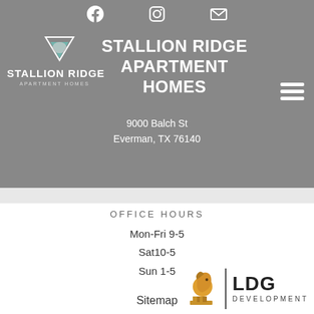[Figure (screenshot): Header banner with Stallion Ridge Apartment Homes logo, social media icons (Facebook, Instagram, email), main title text, address, and hamburger menu]
STALLION RIDGE APARTMENT HOMES
9000 Balch St
Everman, TX 76140
OFFICE HOURS
Mon-Fri 9-5
Sat10-5
Sun 1-5
Sitemap
[Figure (infographic): Three icons: paw print (pet-friendly), Equal Housing Opportunity logo, wheelchair accessibility icon]
[Figure (logo): LDG Development logo with golden horse head and bold text]